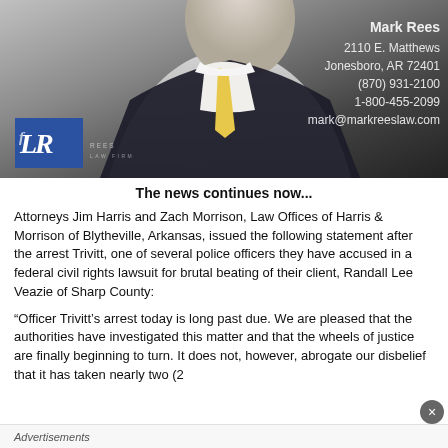[Figure (photo): Advertisement photo of attorney Mark Rees in a dark suit and yellow tie, with law firm logo (LFR Rees Law Firm) and contact information overlaid on the right side of the image.]
The news continues now...
Attorneys Jim Harris and Zach Morrison, Law Offices of Harris & Morrison of Blytheville, Arkansas, issued the following statement after the arrest Trivitt, one of several police officers they have accused in a federal civil rights lawsuit for brutal beating of their client, Randall Lee Veazie of Sharp County:
“Officer Trivitt’s arrest today is long past due. We are pleased that the authorities have investigated this matter and that the wheels of justice are finally beginning to turn. It does not, however, abrogate our disbelief that it has taken nearly two (2
Advertisements